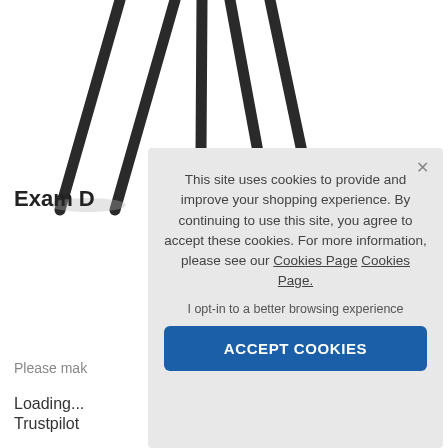[Figure (photo): Partial view of a product (exam/desk chair legs) against white background]
Exam D
Please mak
Loading...
Trustpilot
This site uses cookies to provide and improve your shopping experience. By continuing to use this site, you agree to accept these cookies. For more information, please see our Cookies Page Cookies Page.
I opt-in to a better browsing experience
ACCEPT COOKIES